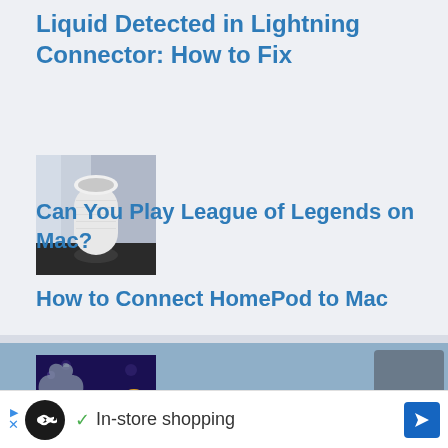Liquid Detected in Lightning Connector: How to Fix
[Figure (photo): Thumbnail image of a white Apple HomePod smart speaker on a dark surface, with window light in background]
How to Connect HomePod to Mac
[Figure (photo): Dark purple/navy thumbnail showing League of Legends and Apple TV+ logos with text 'LEAGUE OF LEGENDS' and a plus sign]
Can You Play League of Legends on Mac?
[Figure (screenshot): Footer area with steel blue background showing Apple logo on left and gray block on right]
In-store shopping